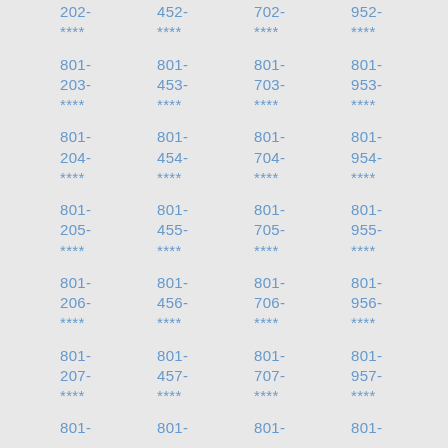202- **** | 452- **** | 702- **** | 952- **** | 801-203- **** | 801-453- **** | 801-703- **** | 801-953- **** | 801-204- **** | 801-454- **** | 801-704- **** | 801-954- **** | 801-205- **** | 801-455- **** | 801-705- **** | 801-955- **** | 801-206- **** | 801-456- **** | 801-706- **** | 801-956- **** | 801-207- **** | 801-457- **** | 801-707- **** | 801-957- **** | 801- | 801- | 801- | 801-